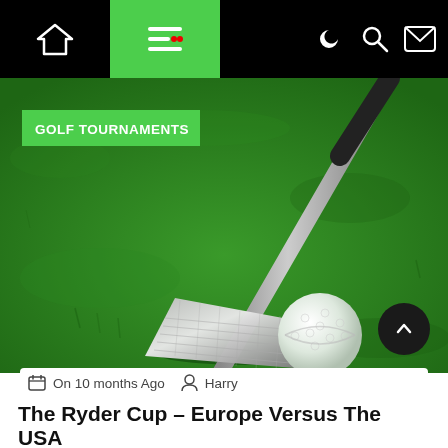Navigation bar with home, menu, moon, search, and mail icons
[Figure (photo): Close-up photo of a silver golf iron club resting against a white golf ball on green artificial turf.]
GOLF TOURNAMENTS
On 10 months Ago   Harry
The Ryder Cup – Europe Versus The USA